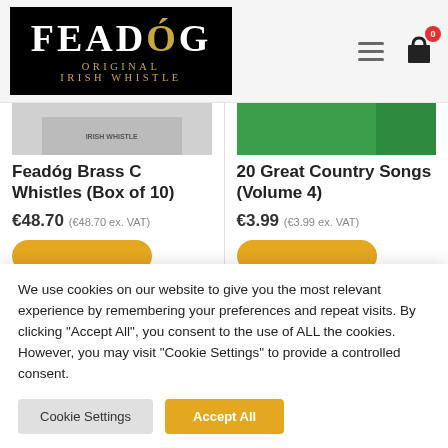[Figure (logo): Feadóg Original Irish Whistle logo — black background with white bold serif text 'FEADÓG' and golden text 'ORIGINAL IRISH WHISTLE']
Feadóg Brass C Whistles (Box of 10)
€48.70 (€48.70 ex. VAT)
20 Great Country Songs (Volume 4)
€3.99 (€3.99 ex. VAT)
We use cookies on our website to give you the most relevant experience by remembering your preferences and repeat visits. By clicking "Accept All", you consent to the use of ALL the cookies. However, you may visit "Cookie Settings" to provide a controlled consent.